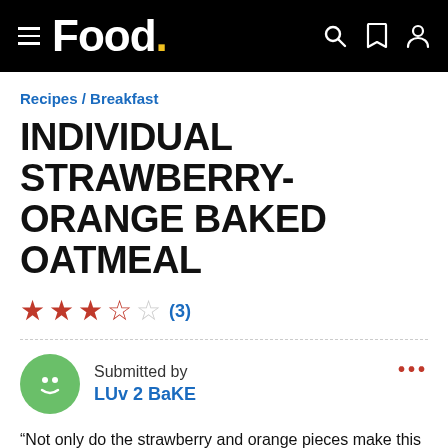Food.
Recipes / Breakfast
INDIVIDUAL STRAWBERRY-ORANGE BAKED OATMEAL
★★★☆☆ (3)
Submitted by LUv 2 BaKE
“Not only do the strawberry and orange pieces make this baked oatmeal taste wonderful, but they also